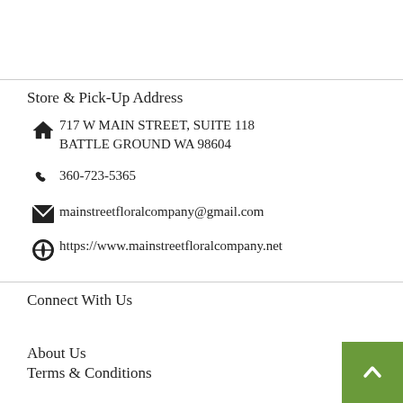Store & Pick-Up Address
717 W MAIN STREET, SUITE 118
BATTLE GROUND WA 98604
360-723-5365
mainstreetfloralcompany@gmail.com
https://www.mainstreetfloralcompany.net
Connect With Us
About Us
Terms & Conditions